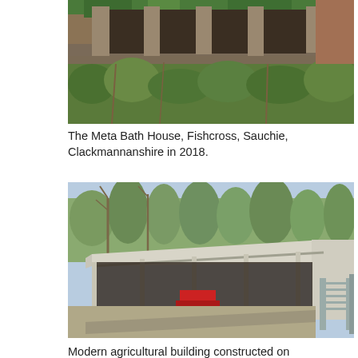[Figure (photo): Photograph of the Meta Bath House in Fishcross, Sauchie, Clackmannanshire in 2018. Shows a derelict stone building with overgrown vegetation and moss-covered stonework.]
The Meta Bath House, Fishcross, Sauchie, Clackmannanshire in 2018.
[Figure (photo): Photograph of a modern agricultural building — an open-sided steel-framed shed with a sloping roof, gravel yard, and metal gate visible on the right. Trees in background.]
Modern agricultural building constructed on